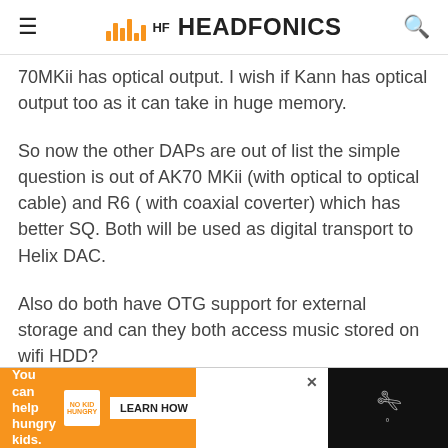HEADFONICS
70MKii has optical output. I wish if Kann has optical output too as it can take in huge memory.
So now the other DAPs are out of list the simple question is out of AK70 MKii (with optical to optical cable) and R6 ( with coaxial coverter) which has better SQ. Both will be used as digital transport to Helix DAC.
Also do both have OTG support for external storage and can they both access music stored on wifi HDD?
[Figure (infographic): Advertisement banner: No Kid Hungry - 'You can help hungry kids.' with LEARN HOW button, orange background]